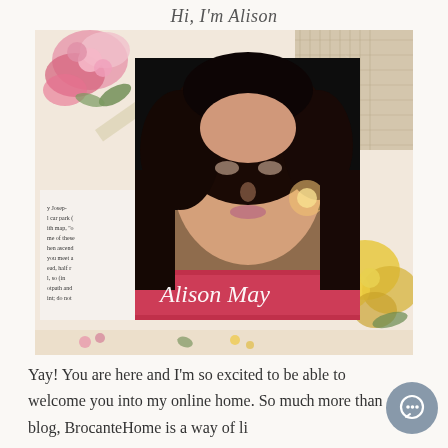Hi, I'm Alison
[Figure (photo): Portrait photo of Alison May with dark curly hair, wearing a pink/magenta scarf, with floral and book-page decorative collage border. White handwritten-style text 'Alison May' overlays the bottom of the portrait.]
Yay! You are here and I'm so excited to be able to welcome you into my online home. So much more than a blog, BrocanteHome is a way of life